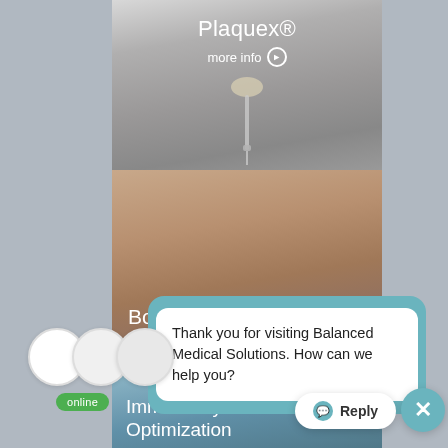[Figure (screenshot): Medical website screenshot showing Plaquex IV drip treatment card with 'more info' link]
Plaquex®
more info ❯
[Figure (photo): Body sculpting treatment card showing male torso]
Body Sculpting with HI-EMT
Thank you for visiting Balanced Medical Solutions. How can we help you?
[Figure (photo): Immune System Optimization card showing medical professional]
Immune System Optimization